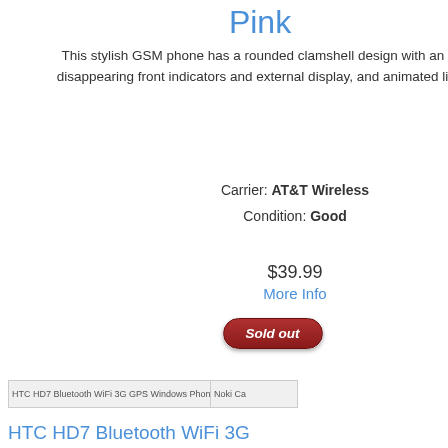Pink
This stylish GSM phone has a rounded clamshell design with an internal antenna, disappearing front indicators and external display, and animated lights around the...
Carrier: AT&T Wireless
Condition: Good
$39.99
More Info
Sold out
LG Xe ATT in
Do yo style o phone comple functio sugges new LG
Carrier: Con
[Figure (other): HTC HD7 Bluetooth WiFi 3G GPS Windows Phone 7 ATT thumbnail]
[Figure (other): Nokia Ca thumbnail]
HTC HD7 Bluetooth WiFi 3G